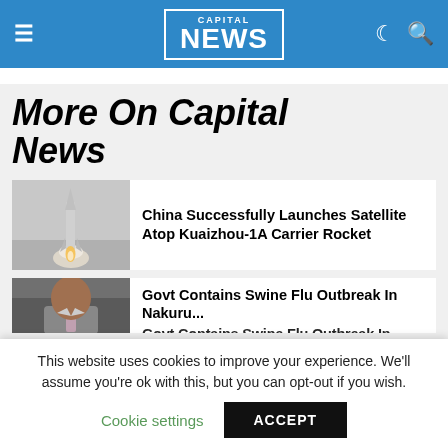CAPITAL NEWS
More On Capital News
[Figure (photo): Rocket launch photo - missile ascending with smoke trail]
China Successfully Launches Satellite Atop Kuaizhou-1A Carrier Rocket
[Figure (photo): Man in grey suit jacket seated in dark chair]
Govt Contains Swine Flu Outbreak In Nakuru...
This website uses cookies to improve your experience. We'll assume you're ok with this, but you can opt-out if you wish.
Cookie settings   ACCEPT